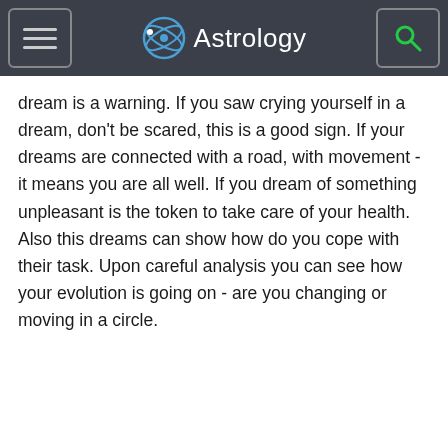Astrology
dream is a warning. If you saw crying yourself in a dream, don't be scared, this is a good sign. If your dreams are connected with a road, with movement - it means you are all well. If you dream of something unpleasant is the token to take care of your health. Also this dreams can show how do you cope with their task. Upon careful analysis you can see how your evolution is going on - are you changing or moving in a circle.